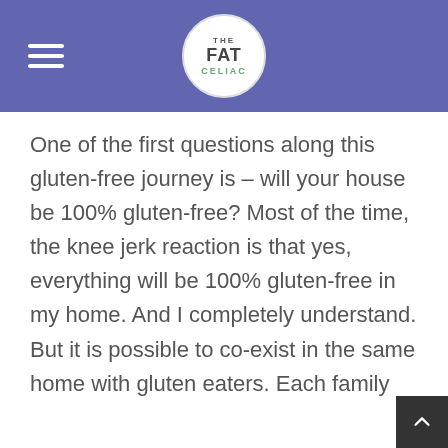THE FAT CELIAC
One of the first questions along this gluten-free journey is – will your house be 100% gluten-free? Most of the time, the knee jerk reaction is that yes, everything will be 100% gluten-free in my home. And I completely understand. But it is possible to co-exist in the same home with gluten eaters. Each family